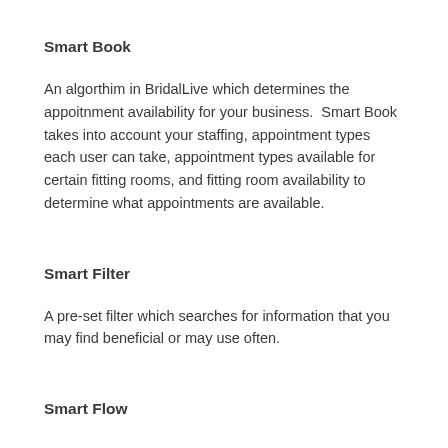Smart Book
An algorthim in BridalLive which determines the appoitnment availability for your business.  Smart Book takes into account your staffing, appointment types each user can take, appointment types available for certain fitting rooms, and fitting room availability to determine what appointments are available.
Smart Filter
A pre-set filter which searches for information that you may find beneficial or may use often.
Smart Flow